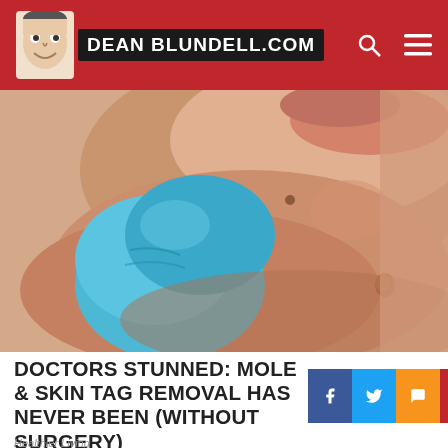DEAN BLUNDELL.COM
[Figure (photo): Close-up photo of a person's neck/chin area with skin tags and moles, with a gloved blue finger visible pointing toward a skin lesion]
DOCTORS STUNNED: MOLE & SKIN TAG REMOVAL HAS NEVER BEEN (WITHOUT SURGERY)
Healthier Living